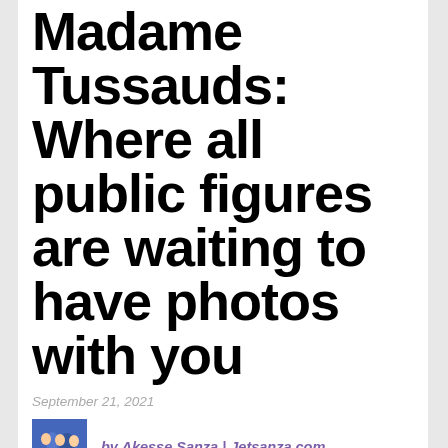Madame Tussauds: Where all public figures are waiting to have photos with you
September 21, 2021
by Akesse Sanza | Jetsanza.com
Advertisement